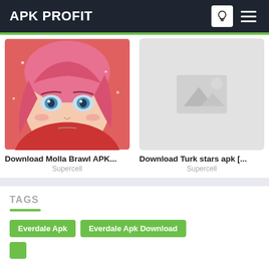APK PROFIT
[Figure (screenshot): Screenshot of anime character with pink/red hair and blue eyes on a red background]
Download Molla Brawl APK...
Supercell
[Figure (photo): Placeholder image with mountain/photo icon on grey background]
Download Turk stars apk [...
Supercell
TAGS
Everdale Apk
Everdale Apk Download